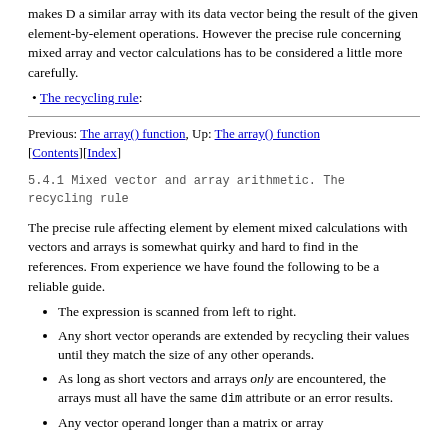makes D a similar array with its data vector being the result of the given element-by-element operations. However the precise rule concerning mixed array and vector calculations has to be considered a little more carefully.
The recycling rule:
Previous: The array() function, Up: The array() function [Contents][Index]
5.4.1 Mixed vector and array arithmetic. The recycling rule
The precise rule affecting element by element mixed calculations with vectors and arrays is somewhat quirky and hard to find in the references. From experience we have found the following to be a reliable guide.
The expression is scanned from left to right.
Any short vector operands are extended by recycling their values until they match the size of any other operands.
As long as short vectors and arrays only are encountered, the arrays must all have the same dim attribute or an error results.
Any vector operand longer than a matrix or array